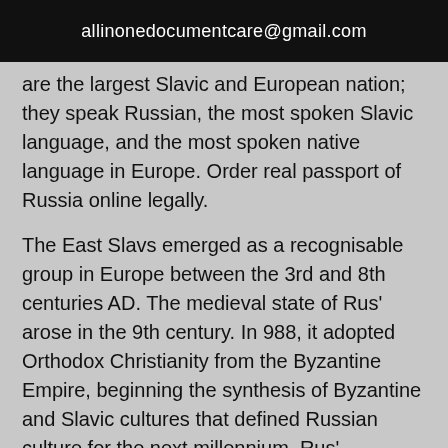allinonedocumentcare@gmail.com
are the largest Slavic and European nation; they speak Russian, the most spoken Slavic language, and the most spoken native language in Europe. Order real passport of Russia online legally.
The East Slavs emerged as a recognisable group in Europe between the 3rd and 8th centuries AD. The medieval state of Rus' arose in the 9th century. In 988, it adopted Orthodox Christianity from the Byzantine Empire, beginning the synthesis of Byzantine and Slavic cultures that defined Russian culture for the next millennium. Rus' ultimately disintegrated until it was finally unified by the Grand Duchy of Moscow in the century. By the 18th century, the nation greatly expanded through conquest, annexation,